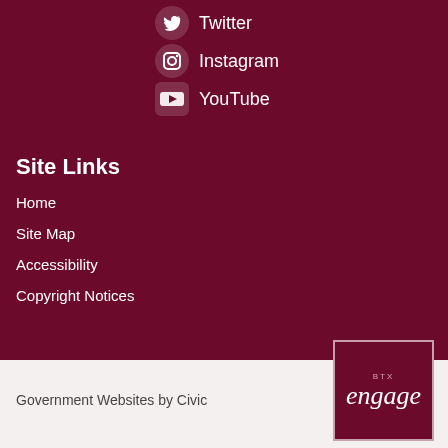Twitter
Instagram
YouTube
Site Links
Home
Site Map
Accessibility
Copyright Notices
Government Websites by Civic
[Figure (logo): BTX Engage chat widget logo with 'LET'S CHAT' label below]